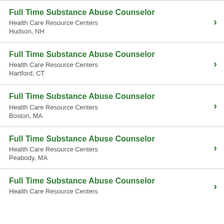Full Time Substance Abuse Counselor
Health Care Resource Centers
Hudson, NH
Full Time Substance Abuse Counselor
Health Care Resource Centers
Hartford, CT
Full Time Substance Abuse Counselor
Health Care Resource Centers
Boston, MA
Full Time Substance Abuse Counselor
Health Care Resource Centers
Peabody, MA
Full Time Substance Abuse Counselor
Health Care Resource Centers